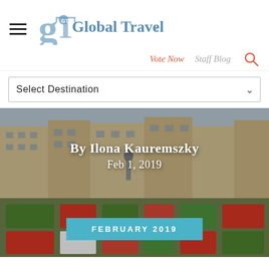[Figure (logo): Global Traveler magazine logo with stylized GT monogram and text reading 'Global Traveler']
Vote Now   Staff Blog
Select Destination
[Figure (photo): Photo of a European city square (Brussels Grand Place area) with historic buildings, a statue, formal garden with red, green and white flower patterns. Overlay text reads 'By Ilona Kauremszky' and 'Feb 1, 2019' with a teal button labeled 'FEBRUARY 2019']
By Ilona Kauremszky
Feb 1, 2019
FEBRUARY 2019